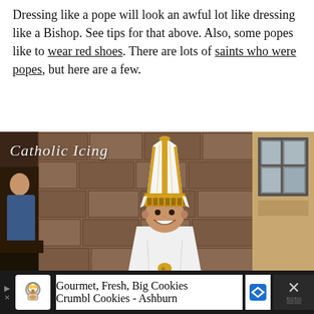Dressing like a pope will look an awful lot like dressing like a Bishop. See tips for that above. Also, some popes like to wear red shoes. There are lots of saints who were popes, but here are a few.
[Figure (photo): A smiling young child dressed in a pope costume — white papal vestments and a tall white mitre (pope hat) with gold trim and gold band around the base. The child stands in front of a stone-textured wall. The photo has a 'Catholic Icing' watermark in cursive in the top-left corner.]
Catholic Icing
Gourmet, Fresh, Big Cookies Crumbl Cookies - Ashburn